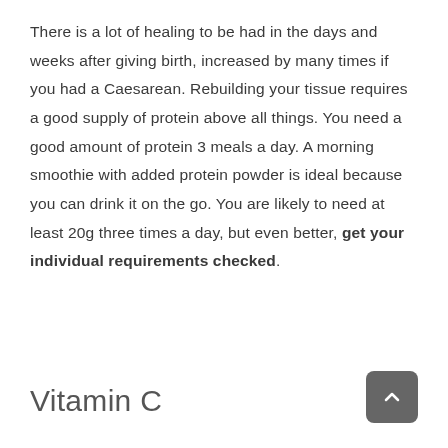There is a lot of healing to be had in the days and weeks after giving birth, increased by many times if you had a Caesarean. Rebuilding your tissue requires a good supply of protein above all things. You need a good amount of protein 3 meals a day. A morning smoothie with added protein powder is ideal because you can drink it on the go. You are likely to need at least 20g three times a day, but even better, get your individual requirements checked.
Vitamin C